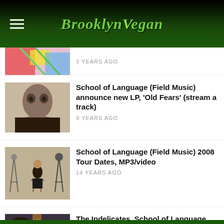BrooklynVegan
3 YEARS AGO
School of Language (Field Music) announce new LP, 'Old Fears' (stream a track)
9 YEARS AGO
School of Language (Field Music) 2008 Tour Dates, MP3/video
14 YEARS AGO
The Indelicates, School of Language, South & others in NYC
14 YEARS AGO